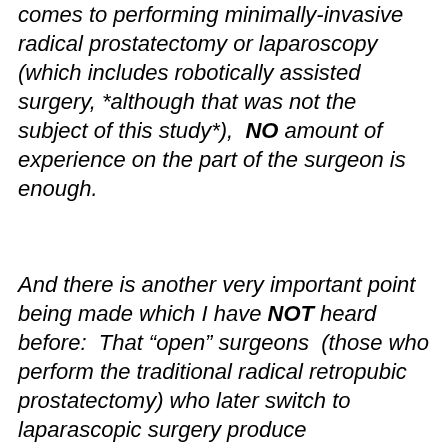comes to performing minimally-invasive radical prostatectomy or laparoscopy (which includes robotically assisted surgery, *although that was not the subject of this study*),  NO amount of experience on the part of the surgeon is enough.
And there is another very important point being made which I have NOT heard before:  That “open” surgeons  (those who perform the traditional radical retropubic prostatectomy) who later switch to laparascopic surgery produce